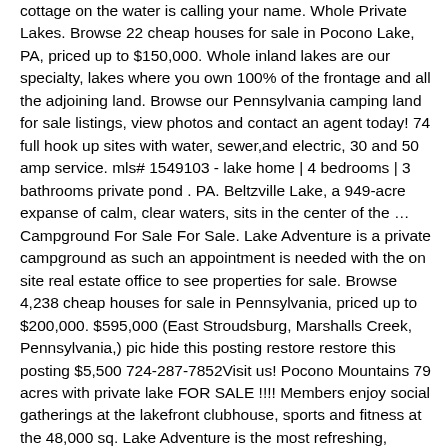cottage on the water is calling your name. Whole Private Lakes. Browse 22 cheap houses for sale in Pocono Lake, PA, priced up to $150,000. Whole inland lakes are our specialty, lakes where you own 100% of the frontage and all the adjoining land. Browse our Pennsylvania camping land for sale listings, view photos and contact an agent today! 74 full hook up sites with water, sewer,and electric, 30 and 50 amp service. mls# 1549103 - lake home | 4 bedrooms | 3 bathrooms private pond . PA. Beltzville Lake, a 949-acre expanse of calm, clear waters, sits in the center of the … Campground For Sale For Sale. Lake Adventure is a private campground as such an appointment is needed with the on site real estate office to see properties for sale. Browse 4,238 cheap houses for sale in Pennsylvania, priced up to $200,000. $595,000 (East Stroudsburg, Marshalls Creek, Pennsylvania,) pic hide this posting restore restore this posting $5,500 724-287-7852Visit us! Pocono Mountains 79 acres with private lake FOR SALE !!!! Members enjoy social gatherings at the lakefront clubhouse, sports and fitness at the 48,000 sq. Lake Adventure is the most refreshing, exciting family vacation adventure ever . Three bedrooms, two bathrooms, and a deck with a view of the lake– this property … Beautiful Property with its own private Lake in Lancaster County, Lititz Pennsylvania, USA. Compare all 40 … Poconos Lakefront Homes On Power Boating Lakes See All Lakefront Homes for Sale in the Poconos exclusive of Power lakes Power boat Lakefront living in the Pocono Mountains of Northeastern Pennsylvania … $564 county hwy w